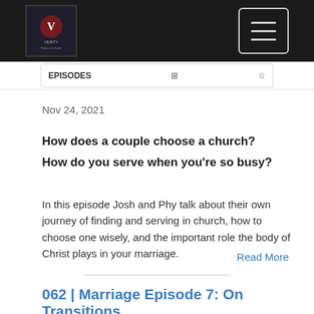Verity - Logo and navigation menu
Nov 24, 2021
How does a couple choose a church?
How do you serve when you're so busy?
In this episode Josh and Phy talk about their own journey of finding and serving in church, how to choose one wisely, and the important role the body of Christ plays in your marriage.
Read More
062 | Marriage Episode 7: On Transitions